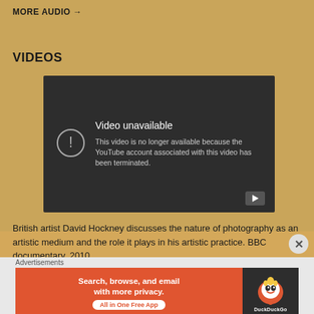MORE AUDIO →
VIDEOS
[Figure (screenshot): Embedded YouTube video player showing 'Video unavailable' error message. The message reads: 'Video unavailable. This video is no longer available because the YouTube account associated with this video has been terminated.' with a play button icon in the bottom right.]
British artist David Hockney discusses the nature of photography as an artistic medium and the role it plays in his artistic practice.  BBC documentary, 2010
Advertisements
[Figure (screenshot): DuckDuckGo advertisement banner. Left orange section reads 'Search, browse, and email with more privacy. All in One Free App'. Right dark section shows DuckDuckGo logo/duck icon.]